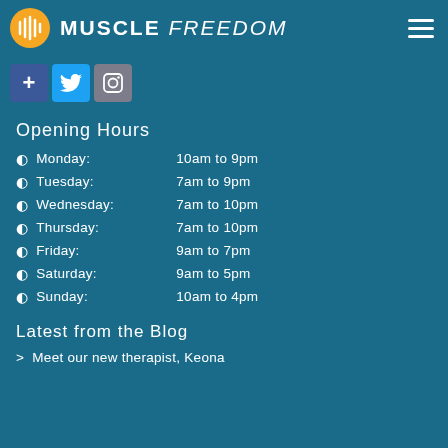MUSCLE FREEDOM
[Figure (logo): Muscle Freedom logo with orange circle icon and white text MUSCLE FREEDOM]
[Figure (infographic): Social media icons: Facebook, Twitter, Instagram]
Opening Hours
Monday: 10am to 9pm
Tuesday: 7am to 9pm
Wednesday: 7am to 10pm
Thursday: 7am to 10pm
Friday: 9am to 7pm
Saturday: 9am to 5pm
Sunday: 10am to 4pm
Latest from the Blog
> Meet our new therapist, Keona